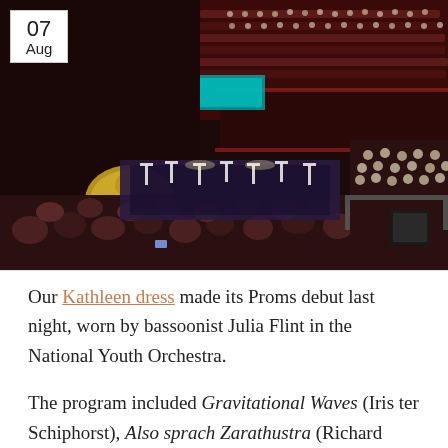[Figure (photo): Interior of the Royal Albert Hall during a Proms concert, showing audience members in the balcony seats in the foreground, the orchestra on the arena floor with music stands and instruments visible, and the packed upper galleries in the background. A date badge '07 Aug' overlays the top-left corner.]
Our Kathleen dress made its Proms debut last night, worn by bassoonist Julia Flint in the National Youth Orchestra.
The program included Gravitational Waves (Iris ter Schiphorst), Also sprach Zarathustra (Richard